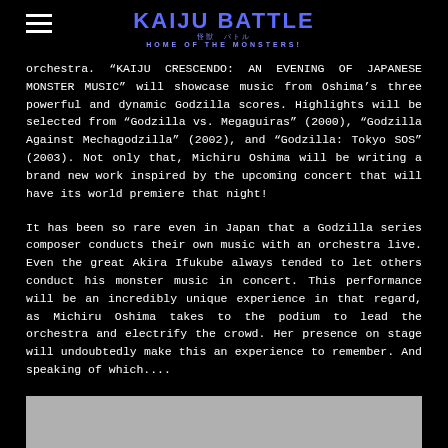KAIJU BATTLE 怪獣 バトル HOME OF THE MONSTERS!
orchestra. "KAIJU CRESCENDO: AN EVENING OF JAPANESE MONSTER MUSIC" will showcase music from Oshima's three powerful and dynamic Godzilla scores. Highlights will be selected from "Godzilla vs. Megaguiras" (2000), "Godzilla Against Mechagodzilla" (2002), and "Godzilla: Tokyo SOS" (2003). Not only that, Michiru Oshima will be writing a brand new work inspired by the upcoming concert that will have its world premiere that night!
It has been so rare even in Japan that a Godzilla series composer conducts their own music with an orchestra live. Even the great Akira Ifukube always tended to let others conduct his monster music in concert. This performance will be an incredibly unique experience in that regard, as Michiru Oshima takes to the podium to lead the orchestra and electrify the crowd. Her presence on stage will undoubtedly make this an experience to remember. And speaking of which....
[Figure (other): Gray rectangle partially visible at the bottom of the page]